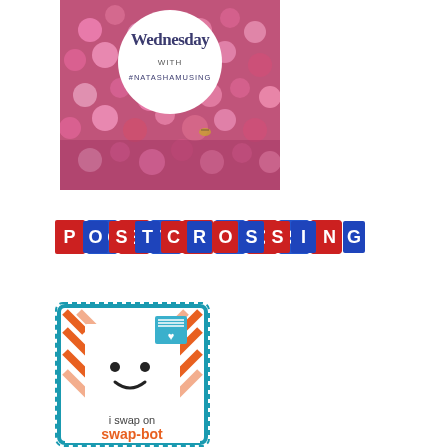[Figure (illustration): Blog graphic for 'Wednesday' with a white circle overlay on a photo of pink flowers (phlox), text reads 'Wednesday WITH #NATASHAMUSING']
[Figure (logo): POSTCROSSING logo with each letter in a colorful banner-style tile, alternating red and blue squares with white letters in bold font]
[Figure (illustration): Swap-bot badge: a square envelope with diagonal orange and white stripes and blue border with dashes, featuring a cute envelope face character. Text reads 'i swap on swap-bot' with 'swap-bot' in bold orange]